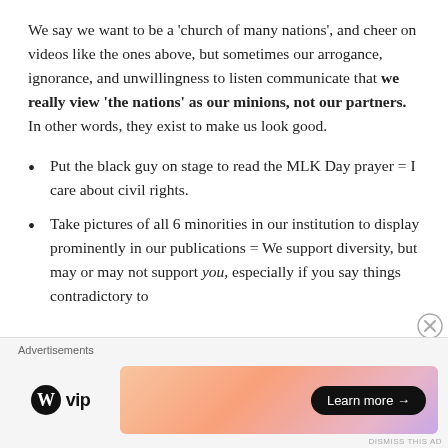We say we want to be a 'church of many nations', and cheer on videos like the ones above, but sometimes our arrogance, ignorance, and unwillingness to listen communicate that we really view 'the nations' as our minions, not our partners.  In other words, they exist to make us look good.
Put the black guy on stage to read the MLK Day prayer = I care about civil rights.
Take pictures of all 6 minorities in our institution to display prominently in our publications = We support diversity, but may or may not support you, especially if you say things contradictory to
Advertisements